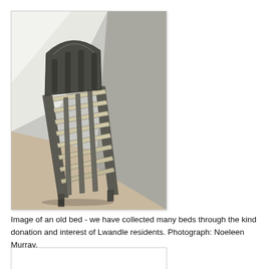[Figure (photo): Photograph of an old metal bed frame without a mattress, placed in a bare room with concrete walls and floor. The bed frame has a grid of metal slats and an arched headboard.]
Image of an old bed - we have collected many beds through the kind donation and interest of Lwandle residents. Photograph: Noeleen Murray.